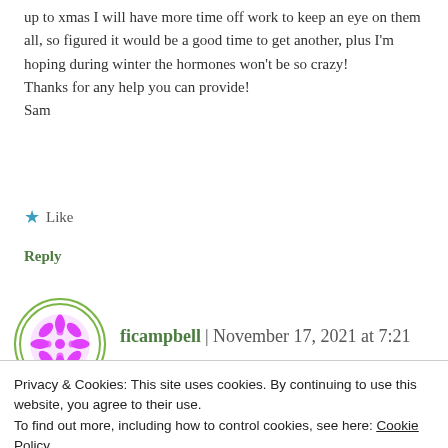up to xmas I will have more time off work to keep an eye on them all, so figured it would be a good time to get another, plus I'm hoping during winter the hormones won't be so crazy!
Thanks for any help you can provide!
Sam
Like
Reply
ficampbell | November 17, 2021 at 7:21 pm
Privacy & Cookies: This site uses cookies. By continuing to use this website, you agree to their use.
To find out more, including how to control cookies, see here: Cookie Policy
Close and accept